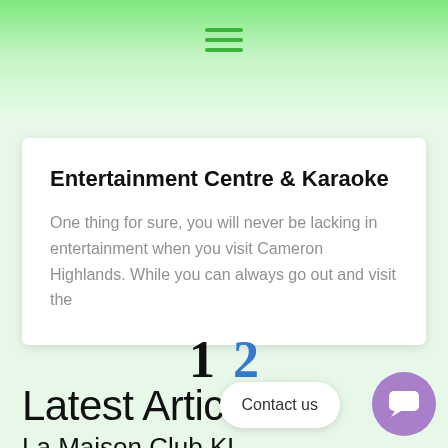☰
Entertainment Centre & Karaoke
One thing for sure, you will never be lacking in entertainment when you visit Cameron Highlands. While you can always go out and visit the
1  2
Latest Articles
La Maison Club KL
Contact us